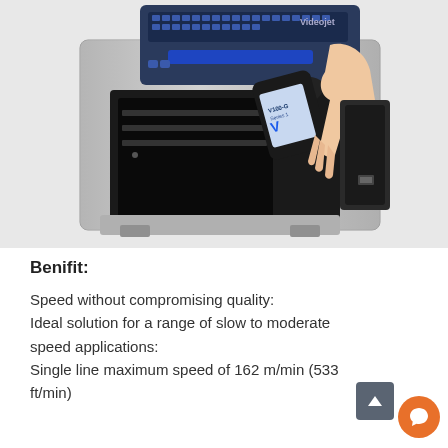[Figure (photo): A Videojet continuous inkjet printer with open panel, showing ink cartridge being inserted by a human hand. The machine is silver/grey with a black print head and blue keyboard on top.]
Benifit:
Speed without compromising quality: Ideal solution for a range of slow to moderate speed applications: Single line maximum speed of 162 m/min (533 ft/min)